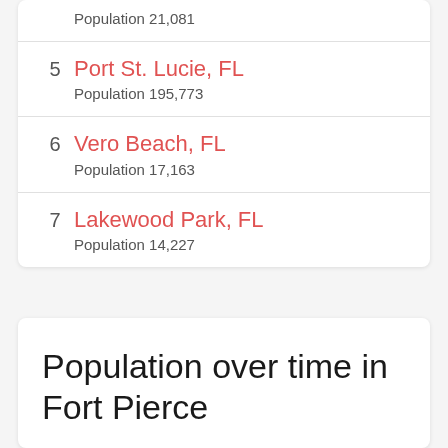Population 21,081
5	Port St. Lucie, FL
Population 195,773
6	Vero Beach, FL
Population 17,163
7	Lakewood Park, FL
Population 14,227
Population over time in Fort Pierce